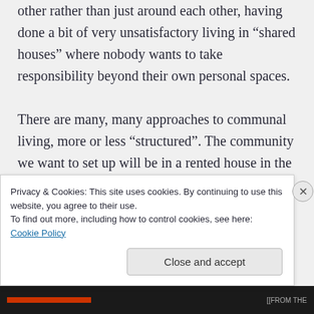other rather than just around each other, having done a bit of very unsatisfactory living in “shared houses” where nobody wants to take responsibility beyond their own personal spaces. There are many, many approaches to communal living, more or less “structured”. The community we want to set up will be in a rented house in the city, have 4-6 people in
Privacy & Cookies: This site uses cookies. By continuing to use this website, you agree to their use.
To find out more, including how to control cookies, see here: Cookie Policy
Close and accept